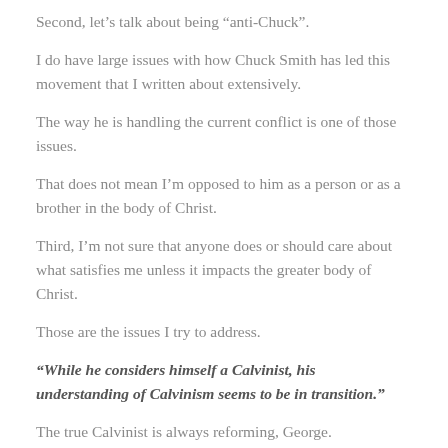Second, let’s talk about being “anti-Chuck”.
I do have large issues with how Chuck Smith has led this movement that I written about extensively.
The way he is handling the current conflict is one of those issues.
That does not mean I’m opposed to him as a person or as a brother in the body of Christ.
Third, I’m not sure that anyone does or should care about what satisfies me unless it impacts the greater body of Christ.
Those are the issues I try to address.
“While he considers himself a Calvinist, his understanding of Calvinism seems to be in transition.”
The true Calvinist is always reforming, George.